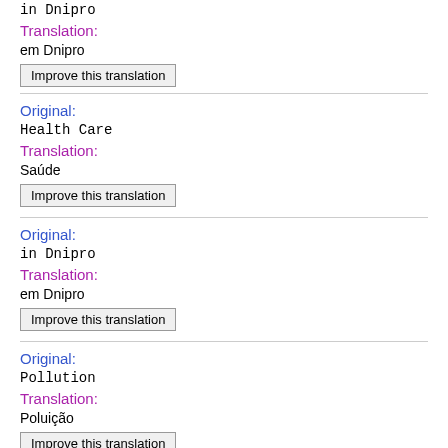in Dnipro
Translation:
em Dnipro
Improve this translation
Original:
Health Care
Translation:
Saúde
Improve this translation
Original:
in Dnipro
Translation:
em Dnipro
Improve this translation
Original:
Pollution
Translation:
Poluição
Improve this translation